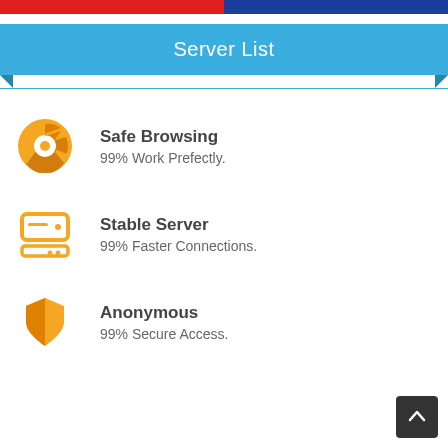[Figure (illustration): Top strip showing red and blue flag colors (Czech/Philippines style flag strip)]
Server List
Safe Browsing
99% Work Prefectly.
Stable Server
99% Faster Connections.
Anonymous
99% Secure Access.